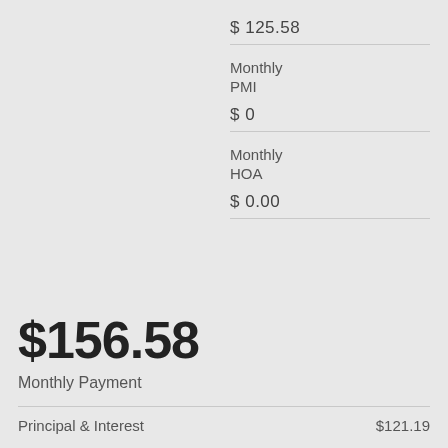$ 125.58
Monthly PMI
$ 0
Monthly HOA
$ 0.00
$156.58
Monthly Payment
Principal & Interest
$121.19